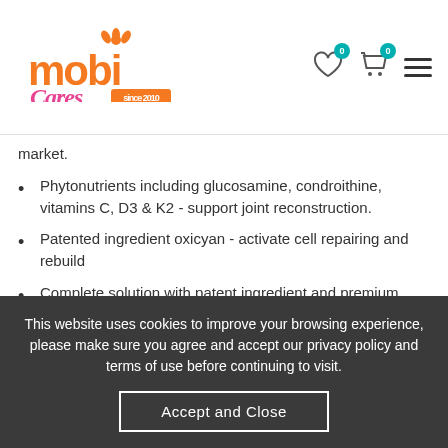Mobi Cares since 2010 - navigation header with wishlist, cart, and menu icons
market.
Phytonutrients including glucosamine, condroithine, vitamins C, D3 & K2 - support joint reconstruction.
Patented ingredient oxicyan - activate cell repairing and rebuild
Complete solution with patent ingredient and premium blend of natural herbs providing strong anti-inflammation, cell activation and essential nutrition for true recovery of joint and tendon tissues
83% high concentration of plant based Glucosamine – No side effect or allergy risk
This website uses cookies to improve your browsing experience, please make sure you agree and accept our privacy policy and terms of use before continuing to visit.
Accept and Close